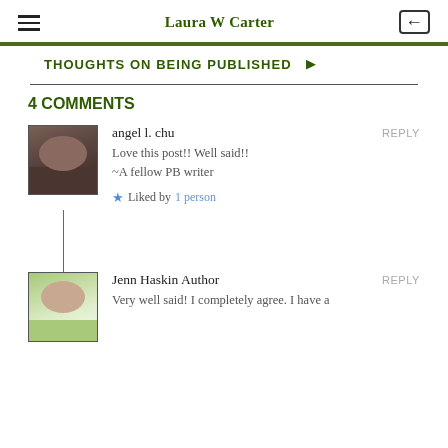Laura W Carter
THOUGHTS ON BEING PUBLISHED
4 COMMENTS
angel l. chu
Love this post!! Well said!!
~A fellow PB writer
Liked by 1 person
Jenn Haskin Author
Very well said! I completely agree. I have a